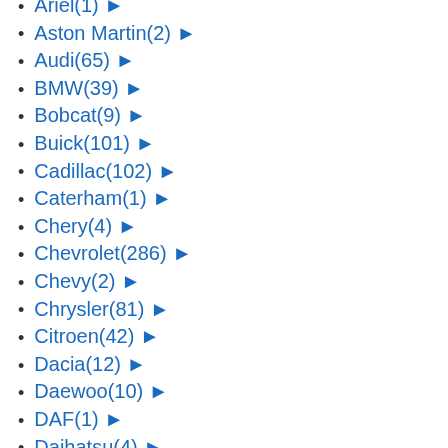Ariel(1) ▶
Aston Martin(2) ▶
Audi(65) ▶
BMW(39) ▶
Bobcat(9) ▶
Buick(101) ▶
Cadillac(102) ▶
Caterham(1) ▶
Chery(4) ▶
Chevrolet(286) ▶
Chevy(2) ▶
Chrysler(81) ▶
Citroen(42) ▶
Dacia(12) ▶
Daewoo(10) ▶
DAF(1) ▶
Daihatsu(4) ▶
Datsun(3) ▶
Dodge(147) ▶